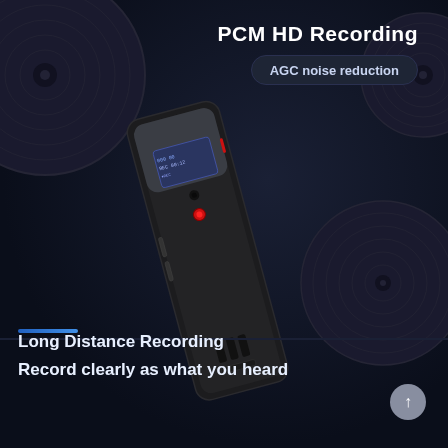PCM HD Recording
AGC noise reduction
[Figure (photo): Black handheld digital voice recorder device shown at an angle, displaying a small LCD screen with recording information, a red indicator button, and speaker grilles at the bottom. Background features vinyl record disc decorations on a dark navy background.]
Long Distance Recording
Record clearly as what you heard